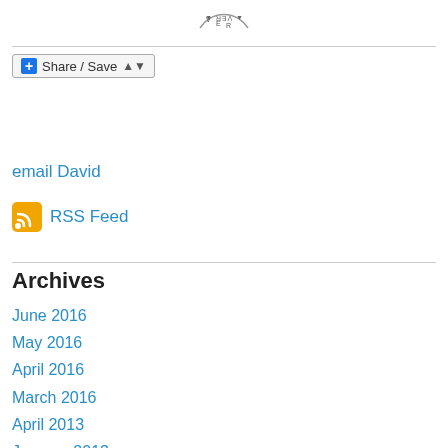[Figure (logo): Partial circular stamp/logo visible at top center]
[Figure (other): Share / Save button widget with blue plus icon and dropdown arrow]
email David
RSS Feed
Archives
June 2016
May 2016
April 2016
March 2016
April 2013
January 2013
December 2012